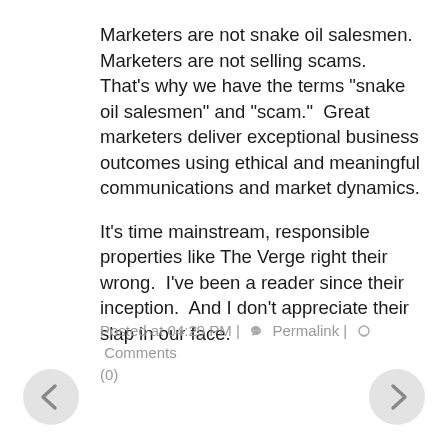Marketers are not snake oil salesmen.  Marketers are not selling scams.  That's why we have the terms "snake oil salesmen" and "scam."  Great marketers deliver exceptional business outcomes using ethical and meaningful communications and market dynamics.
It's time mainstream, responsible properties like The Verge right their wrong.  I've been a reader since their inception.  And I don't appreciate their slap in our face.
Posted at 04:29 PM | 🔗 Permalink | 💬 Comments (0)